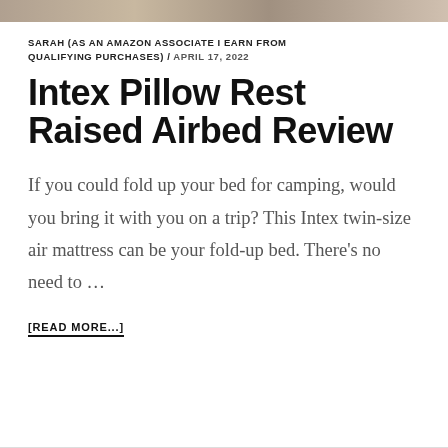[Figure (photo): Partial image strip at top of page showing an outdoor/camping scene]
SARAH (AS AN AMAZON ASSOCIATE I EARN FROM QUALIFYING PURCHASES) / APRIL 17, 2022
Intex Pillow Rest Raised Airbed Review
If you could fold up your bed for camping, would you bring it with you on a trip? This Intex twin-size air mattress can be your fold-up bed. There’s no need to …
[READ MORE...]